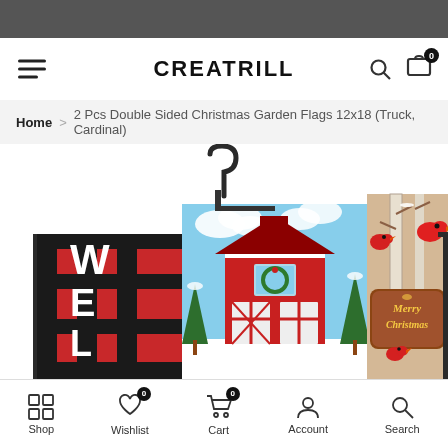CREATRILL
Home > 2 Pcs Double Sided Christmas Garden Flags 12x18 (Truck, Cardinal)
[Figure (photo): Product photo showing Christmas garden flags: a red and black buffalo plaid flag with WELCOME text, a red barn winter scene flag, and a cardinal bird Merry Christmas wooden sign flag, displayed on garden flag poles with a C-hook hanger]
Shop  Wishlist  Cart  Account  Search